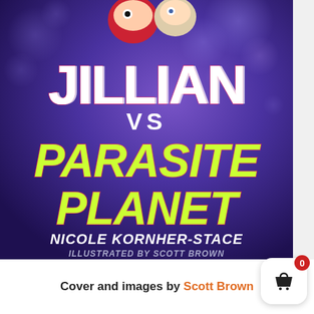[Figure (illustration): Book cover for 'Jillian vs Parasite Planet' by Nicole Kornher-Stace, illustrated by Scott Brown. Deep purple/blue space background with bokeh light effects, two cartoon character faces at top, large white text 'JILLIAN' with glitch effect, 'VS' below, then large neon green italic 'PARASITE PLANET', author name in white italic caps, illustrator credit in lighter text at bottom of cover. A shopping basket UI button with red badge showing '0' overlays the bottom-right corner.]
Cover and images by Scott Brown